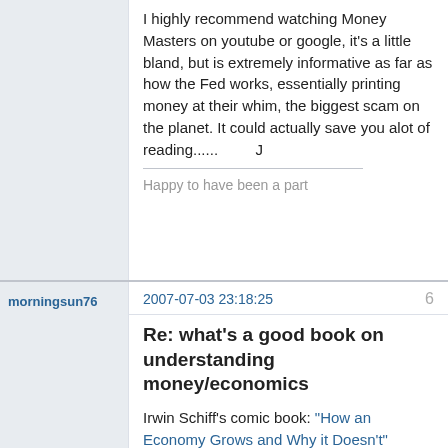I highly recommend watching Money Masters on youtube or google, it's a little bland, but is extremely informative as far as how the Fed works, essentially printing money at their whim, the biggest scam on the planet. It could actually save you alot of reading......         J
Happy to have been a part
morningsun76
2007-07-03 23:18:25
6
Re: what's a good book on understanding money/economics
Irwin Schiff's comic book: "How an Economy Grows and Why it Doesn't"
Irwin's locked up now for being an obvious terrorist, and his books are being sold very cheaply.   I'd also recommend everyone interested in law get a copy of "The Great Income Tax Hoax"